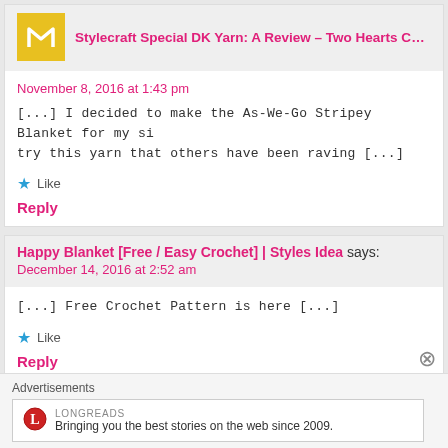[Figure (logo): Yellow square logo with crown/letter M symbol]
Stylecraft Special DK Yarn: A Review – Two Hearts Crochet
November 8, 2016 at 1:43 pm
[...] I decided to make the As-We-Go Stripey Blanket for my si try this yarn that others have been raving [...]
★ Like
Reply
Happy Blanket [Free / Easy Crochet] | Styles Idea says:
December 14, 2016 at 2:52 am
[...] Free Crochet Pattern is here [...]
★ Like
Reply
Advertisements
[Figure (logo): Longreads logo - red circle with L]
Bringing you the best stories on the web since 2009.